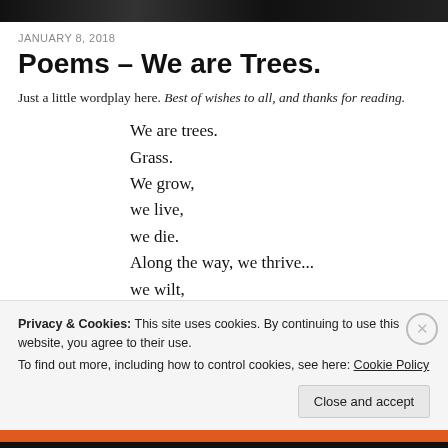[Figure (photo): Dark banner header image at top of page]
JANUARY 8, 2018
Poems – We are Trees.
Just a little wordplay here. Best of wishes to all, and thanks for reading.
We are trees.
Grass.
We grow,
we live,
we die.
Along the way, we thrive...
we wilt,
we prosper,
Privacy & Cookies: This site uses cookies. By continuing to use this website, you agree to their use.
To find out more, including how to control cookies, see here: Cookie Policy
Close and accept